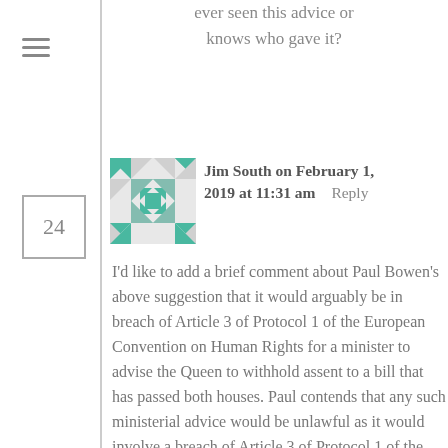ever seen this advice or knows who gave it?
Jim South on February 1, 2019 at 11:31 am   Reply
I'd like to add a brief comment about Paul Bowen's above suggestion that it would arguably be in breach of Article 3 of Protocol 1 of the European Convention on Human Rights for a minister to advise the Queen to withhold assent to a bill that has passed both houses. Paul contends that any such ministerial advice would be unlawful as it would involve a breach of Article 3 of Protocol 1 of the Convention. For the reasons